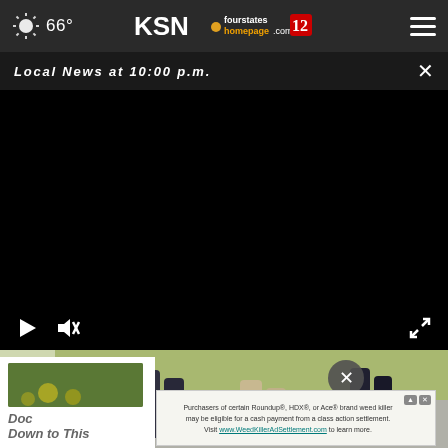66° KSN fourstates homepage.com 12
Local News at 10:00 p.m.
[Figure (screenshot): Video player showing black screen with play button, mute button, and fullscreen button controls at the bottom]
[Figure (photo): Image strip showing legs of people walking outdoors on pavement]
[Figure (infographic): Advertisement banner: Purchasers of certain Roundup®, HDX®, or Ace® brand weed killer may be eligible for a cash payment from a class action settlement. Visit www.WeedKillerAdSettlement.com to learn more.]
Doc Down to This